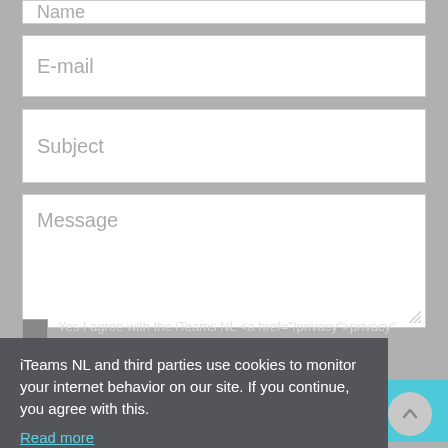Name
E-mail
Subject
Message
Yes I agree with the iTeams NL <a href="/privacy">privacy"
iTeams NL and third parties use cookies to monitor your internet behavior on our site. If you continue, you agree with this.
Read more
Send Email
I understand